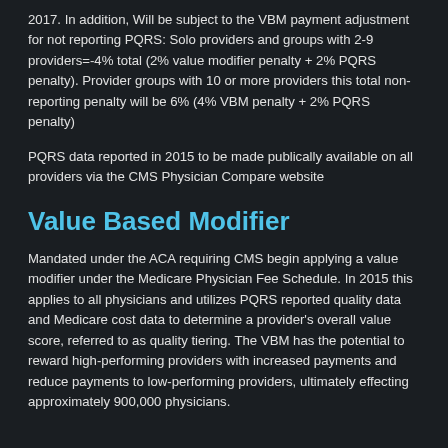2017. In addition, Will be subject to the VBM payment adjustment for not reporting PQRS: Solo providers and groups with 2-9 providers=-4% total (2% value modifier penalty + 2% PQRS penalty). Provider groups with 10 or more providers this total non-reporting penalty will be 6% (4% VBM penalty + 2% PQRS penalty)
PQRS data reported in 2015 to be made publically available on all providers via the CMS Physician Compare website
Value Based Modifier
Mandated under the ACA requiring CMS begin applying a value modifier under the Medicare Physician Fee Schedule. In 2015 this applies to all physicians and utilizes PQRS reported quality data and Medicare cost data to determine a provider's overall value score, referred to as quality tiering. The VBM has the potential to reward high-performing providers with increased payments and reduce payments to low-performing providers, ultimately effecting approximately 900,000 physicians.